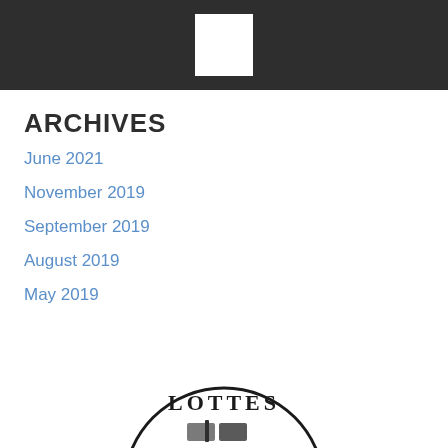[Figure (logo): White square logo placeholder centered in dark header bar]
ARCHIVES
June 2021
November 2019
September 2019
August 2019
May 2019
[Figure (logo): Partial circular logo at bottom of page showing text LOTTES and book imagery]